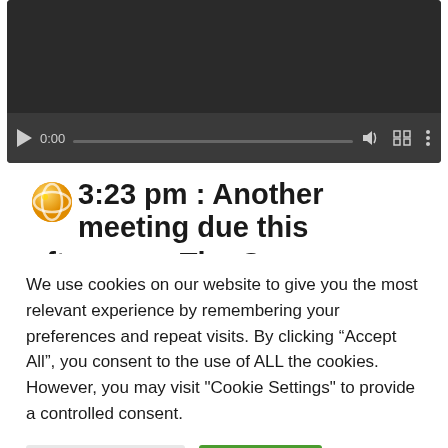[Figure (screenshot): Video player with dark background, play button, time display showing 0:00, progress bar, and control icons for volume, fullscreen, and more options]
3:23 pm : Another meeting due this afternoon. The German Alexander Zverev
We use cookies on our website to give you the most relevant experience by remembering your preferences and repeat visits. By clicking “Accept All”, you consent to the use of ALL the cookies. However, you may visit "Cookie Settings" to provide a controlled consent.
Cookie Settings
Accept All